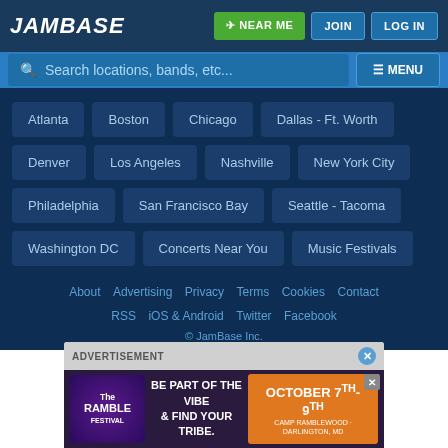JamBase | NEAR ME | JOIN | LOG IN
Search locations, bands, etc... MENU
Atlanta
Boston
Chicago
Dallas - Ft. Worth
Denver
Los Angeles
Nashville
New York City
Philadelphia
San Francisco Bay
Seattle - Tacoma
Washington DC
Concerts Near You
Music Festivals
About  Advertising  Privacy  Terms  Cookies  Contact
RSS  iOS & Android  Twitter  Facebook
© JamBase Inc.
[Figure (screenshot): Advertisement banner for The Ramble Festival - 'Be Part of the Vibe & Find Your Tribe' - October 7th-9th, Camp Ramblewood, Darlington, MD]